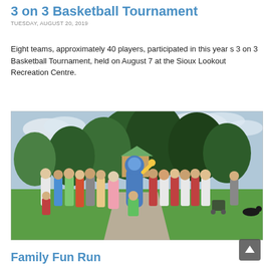3 on 3 Basketball Tournament
TUESDAY, AUGUST 20, 2019
Eight teams, approximately 40 players, participated in this year s 3 on 3 Basketball Tournament, held on August 7 at the Sioux Lookout Recreation Centre.
[Figure (photo): Group photo of approximately 30 people including adults and children gathered outdoors on a grassy area with trees in the background. A blue mascot costume character stands in the center of the group. A pathway is visible in the foreground.]
Family Fun Run